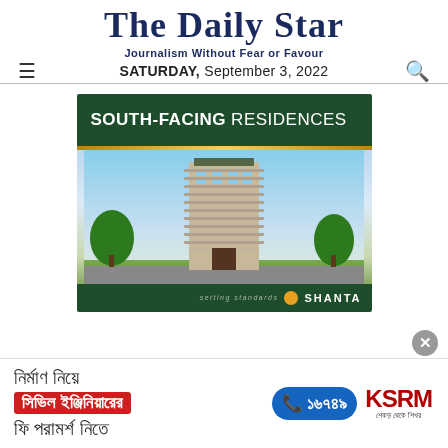The Daily Star
Journalism Without Fear or Favour
SATURDAY, September 3, 2022
[Figure (illustration): Shanta real estate advertisement showing a tall modern residential building render with green header bar reading SOUTH-FACING RESIDENCES, gold divider, building render on sky background with trees, and dark green footer with 'setting standards' and SHANTA logo]
[Figure (infographic): KSRM advertisement banner in Bengali: 'নির্মাণ নিয়ে সিভিল ইঞ্জিনিয়ারের ফি পরামর্শ নিতে' with phone number 16749 in blue pill button and KSRM logo with tagline in Bengali]